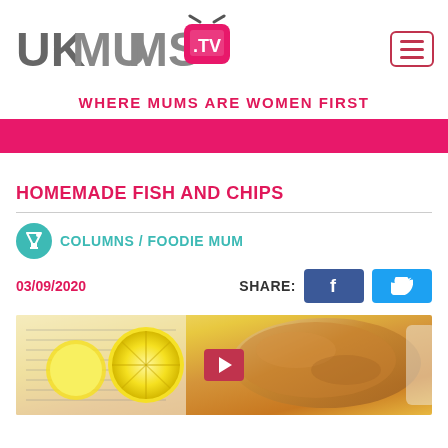[Figure (logo): UKMUMS.TV logo with pink TV graphic and hamburger menu icon]
WHERE MUMS ARE WOMEN FIRST
HOMEMADE FISH AND CHIPS
COLUMNS / FOODIE MUM
03/09/2020
[Figure (photo): Photo of homemade fish and chips with lemon slices on newspaper, with play button overlay]